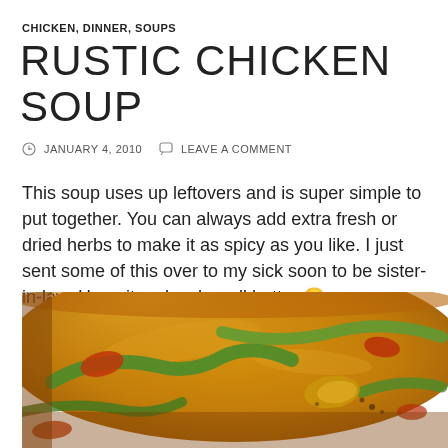CHICKEN, DINNER, SOUPS
RUSTIC CHICKEN SOUP
JANUARY 4, 2010   LEAVE A COMMENT
This soup uses up leftovers and is super simple to put together. You can always add extra fresh or dried herbs to make it as spicy as you like. I just sent some of this over to my sick soon to be sister-in-law. Hope it makes her all better 🙂
[Figure (photo): Close-up photo of rustic chicken soup in a bowl, showing golden broth with green vegetables, red peppers, and chicken pieces]